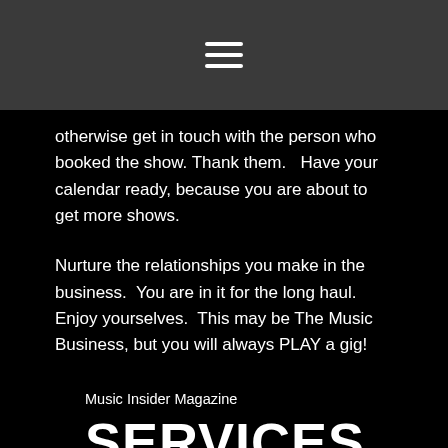[Figure (other): Navigation hamburger menu icon (three horizontal white lines) on a dark gray background header bar]
otherwise get in touch with the person who booked the show. Thank them.   Have your calendar ready, because you are about to get more shows.
Nurture the relationships you make in the business.  You are in it for the long haul.  Enjoy yourselves.  This may be The Music Business, but you will always PLAY a gig!
Music Insider Magazine
SERVICES
Download Member Services Package
MEMBERSHIP PACKAGES